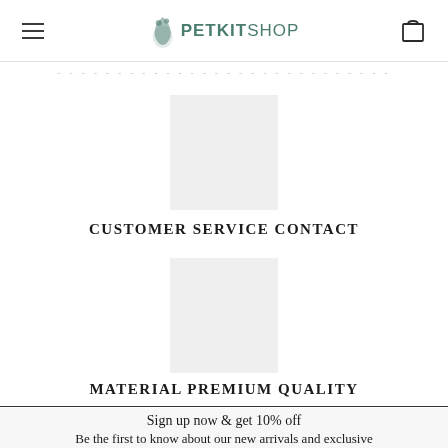PETKITSHOP
[Figure (illustration): Gray placeholder square image for Customer Service Contact section]
CUSTOMER SERVICE CONTACT
[Figure (illustration): Gray placeholder square image for Material Premium Quality section]
MATERIAL PREMIUM QUALITY
Sign up now & get 10% off
Be the first to know about our new arrivals and exclusive